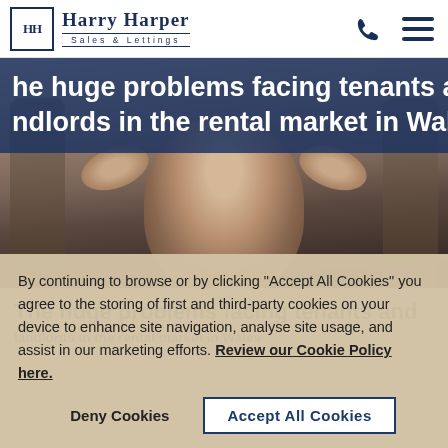Harry Harper Sales & Lettings
[Figure (photo): Hero image of a stressed man holding his head in his hands, with a dark blue overlay banner reading 'he huge problems facing tenants and ndlords in the rental market in Wale']
The huge problems facing tenants and landlords in the rental market in Wales
By continuing to browse or by clicking "Accept All Cookies" you agree to the storing of first and third-party cookies on your device to enhance site navigation, analyse site usage, and assist in our marketing efforts. Review our Cookie Policy here.
Deny Cookies | Accept All Cookies